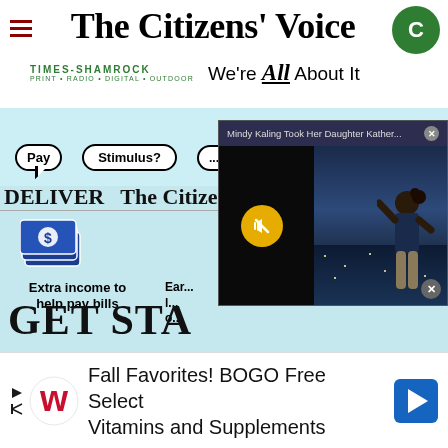The Citizens' Voice
TIMES-SHAMROCK PRINT • RADIO • DIGITAL • OUTDOOR — We're All About It
[Figure (screenshot): Newspaper website screenshot showing The Citizens' Voice masthead with Times-Shamrock logo, a carrier recruitment ad with speech bubbles reading 'Pay', 'Stimulus?', 'unemployed?', 'DELIVER The Citizens' Voice', dollar sign graphic, 'Extra income to help pay bills', 'GET STA...' text, overlaid with a video popup titled 'Mindy Kaling Took Her Daughter Kather...' with mute button and child pointing at city lights image]
Fall Favorites! BOGO Free Select Vitamins and Supplements